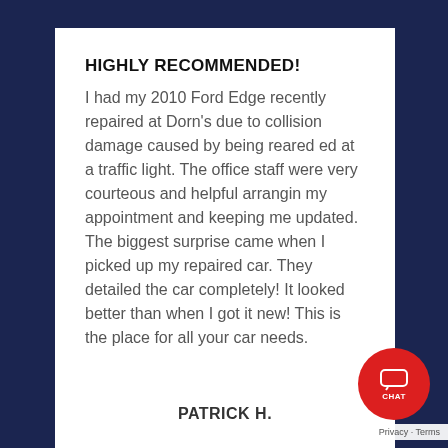HIGHLY RECOMMENDED!
I had my 2010 Ford Edge recently repaired at Dorn's due to collision damage caused by being reared ed at a traffic light. The office staff were very courteous and helpful arrangin my appointment and keeping me updated. The biggest surprise came when I picked up my repaired car. They detailed the car completely! It looked better than when I got it new! This is the place for all your car needs.
PATRICK H.